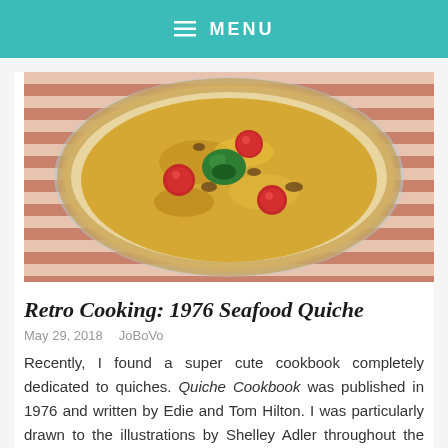≡ MENU
[Figure (photo): A baked seafood quiche in a glass pie dish, topped with melted cheese, cherry tomatoes, and broccoli, placed on a striped red and white cloth.]
Retro Cooking: 1976 Seafood Quiche
May 29, 2018   JoBoVo
Recently, I found a super cute cookbook completely dedicated to quiches. Quiche Cookbook was published in 1976 and written by Edie and Tom Hilton. I was particularly drawn to the illustrations by Shelley Adler throughout the book